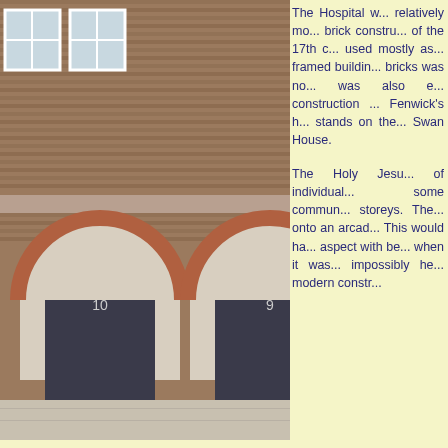[Figure (photo): Photograph of a brick building facade showing two arched doorways numbered 9 and 10, with white-framed windows above, constructed in red and brown brick with decorative arch brickwork.]
The Hospital w... relatively mo... brick constru... of the 17th c... used mostly as... framed buildin... bricks was no... was also e... construction ... Fenwick's h... stands on the... Swan House.
The Holy Jesu... of individual... some commun... storeys. The... onto an arcad... This would ha... aspect with be... when it was... impossibly he... modern constr...